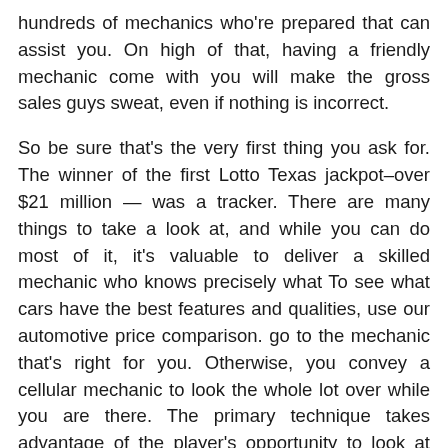hundreds of mechanics who're prepared that can assist you. On high of that, having a friendly mechanic come with you will make the gross sales guys sweat, even if nothing is incorrect.

So be sure that's the very first thing you ask for. The winner of the first Lotto Texas jackpot–over $21 million — was a tracker. There are many things to take a look at, and while you can do most of it, it's valuable to deliver a skilled mechanic who knows precisely what To see what cars have the best features and qualities, use our automotive price comparison. go to the mechanic that's right for you. Otherwise, you convey a cellular mechanic to look the whole lot over while you are there. The primary technique takes advantage of the player's opportunity to look at one of the vendor's playing cards. If you are that determined, rajawaligg don't even store for one. Many